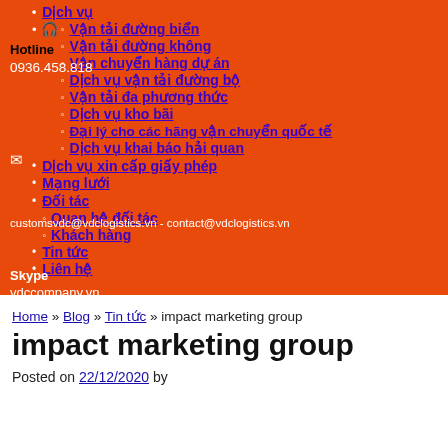Dịch vụ
Vận tải đường biển
Vận tải đường không
Vận chuyển hàng dự án
Dịch vụ vận tải đường bộ
Vận tải đa phương thức
Dịch vụ kho bãi
Đại lý cho các hãng vận chuyển quốc tế
Dịch vụ khai báo hải quan
Dịch vụ xin cấp giấy phép
Mạng lưới
Đối tác
Quan hệ đối tác
Khách hàng
Tin tức
Liên hệ
Hotline
0936.458.818
customsvdc@vdclogistics.vn - contact@vdclogistics.vn
Skype
vdccompany.vn
Home » Blog » Tin tức » impact marketing group
impact marketing group
Posted on 22/12/2020 by